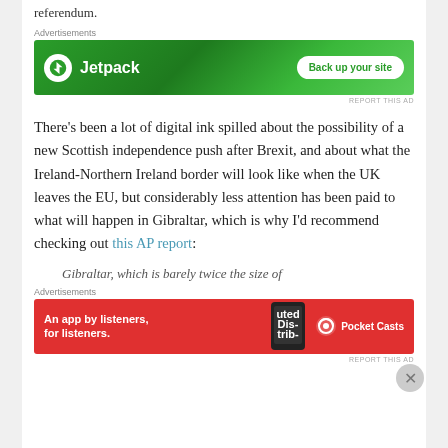referendum.
Advertisements
[Figure (screenshot): Jetpack advertisement banner: green background with Jetpack logo and 'Back up your site' button]
There's been a lot of digital ink spilled about the possibility of a new Scottish independence push after Brexit, and about what the Ireland-Northern Ireland border will look like when the UK leaves the EU, but considerably less attention has been paid to what will happen in Gibraltar, which is why I'd recommend checking out this AP report:
Gibraltar, which is barely twice the size of
Advertisements
[Figure (screenshot): Pocket Casts advertisement banner: red background with 'An app by listeners, for listeners.' text and Pocket Casts logo]